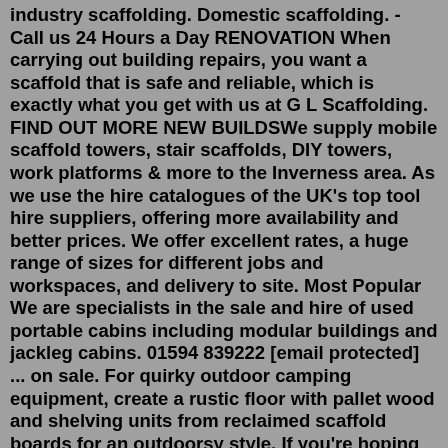industry scaffolding. Domestic scaffolding. - Call us 24 Hours a Day RENOVATION When carrying out building repairs, you want a scaffold that is safe and reliable, which is exactly what you get with us at G L Scaffolding. FIND OUT MORE NEW BUILDSWe supply mobile scaffold towers, stair scaffolds, DIY towers, work platforms & more to the Inverness area. As we use the hire catalogues of the UK's top tool hire suppliers, offering more availability and better prices. We offer excellent rates, a huge range of sizes for different jobs and workspaces, and delivery to site. Most Popular We are specialists in the sale and hire of used portable cabins including modular buildings and jackleg cabins. 01594 839222 [email protected] ... on sale. For quirky outdoor camping equipment, create a rustic floor with pallet wood and shelving units from reclaimed scaffold boards for an outdoorsy style. If you're hoping to sell football ...Buy scaffold tube online in sizes 21ft, 16ft, 13ft, 10ft, 8ft & 5ft. All the tubes we have for sale have a diameter of 48.3mm and a thickness of 4mm. Skip to content. 01242 767688.